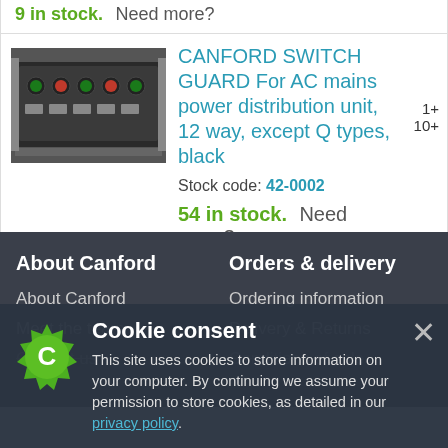9 in stock.  Need more?
CANFORD SWITCH GUARD For AC mains power distribution unit, 12 way, except Q types, black
Stock code: 42-0002
54 in stock.  Need more?
[Figure (photo): Canford switch guard device mounted in a rack unit, showing multiple buttons and connectors]
About Canford
About Canford
Meet the team
Contact us
Orders & delivery
Ordering information
Delivery & Returns
Conditions of sale
Cookie consent
This site uses cookies to store information on your computer. By continuing we assume your permission to store cookies, as detailed in our privacy policy.